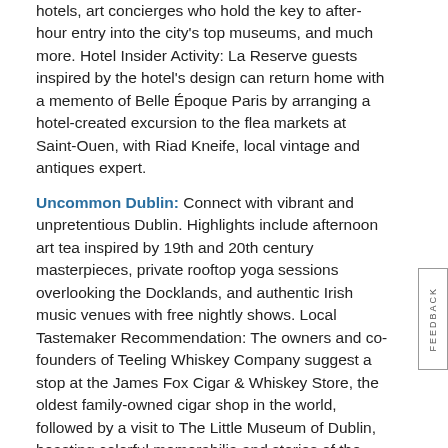hotels, art concierges who hold the key to after-hour entry into the city's top museums, and much more. Hotel Insider Activity: La Reserve guests inspired by the hotel's design can return home with a memento of Belle Époque Paris by arranging a hotel-created excursion to the flea markets at Saint-Ouen, with Riad Kneife, local vintage and antiques expert.
Uncommon Dublin: Connect with vibrant and unpretentious Dublin. Highlights include afternoon art tea inspired by 19th and 20th century masterpieces, private rooftop yoga sessions overlooking the Docklands, and authentic Irish music venues with free nightly shows. Local Tastemaker Recommendation: The owners and co-founders of Teeling Whiskey Company suggest a stop at the James Fox Cigar & Whiskey Store, the oldest family-owned cigar shop in the world, followed by a visit to The Little Museum of Dublin, boasting colorful memorabilia and stories of the city.